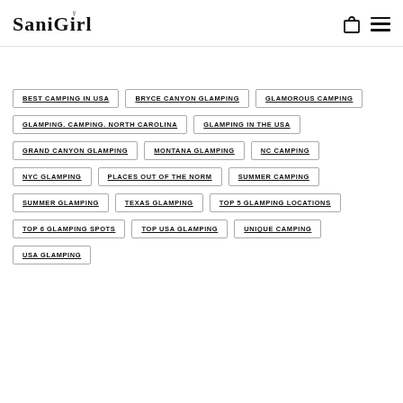SaniGirl
BEST CAMPING IN USA
BRYCE CANYON GLAMPING
GLAMOROUS CAMPING
GLAMPING. CAMPING. NORTH CAROLINA
GLAMPING IN THE USA
GRAND CANYON GLAMPING
MONTANA GLAMPING
NC CAMPING
NYC GLAMPING
PLACES OUT OF THE NORM
SUMMER CAMPING
SUMMER GLAMPING
TEXAS GLAMPING
TOP 5 GLAMPING LOCATIONS
TOP 6 GLAMPING SPOTS
TOP USA GLAMPING
UNIQUE CAMPING
USA GLAMPING